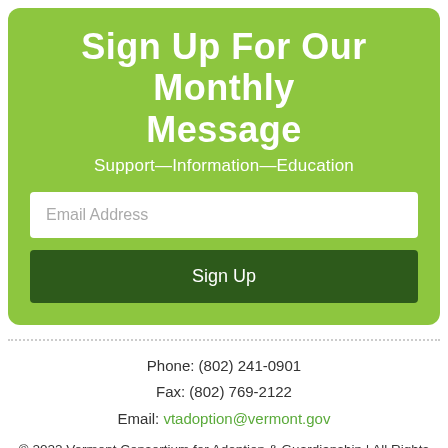Sign Up For Our Monthly Message
Support—Information—Education
Email Address
Sign Up
Phone: (802) 241-0901
Fax: (802) 769-2122
Email: vtadoption@vermont.gov
© 2022 Vermont Consortium for Adoption & Guardianship | All Rights Reserved
web design + development  ❄ ETERNITY WEB